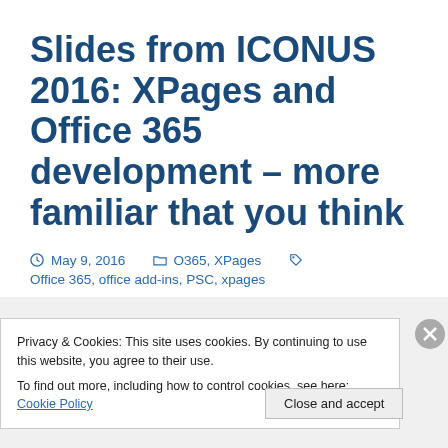Slides from ICONUS 2016: XPages and Office 365 development – more familiar that you think
May 9, 2016   O365, XPages   Office 365, office add-ins, PSC, xpages
Privacy & Cookies: This site uses cookies. By continuing to use this website, you agree to their use. To find out more, including how to control cookies, see here: Cookie Policy